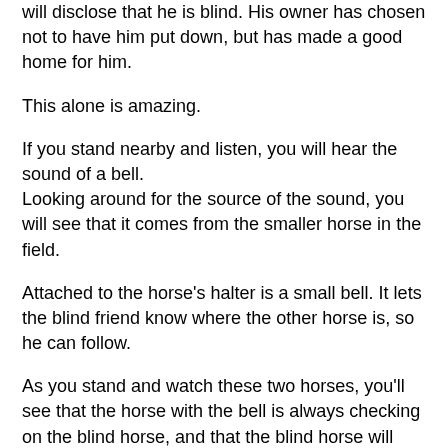will disclose that he is blind. His owner has chosen not to have him put down, but has made a good home for him.
This alone is amazing.
If you stand nearby and listen, you will hear the sound of a bell.
Looking around for the source of the sound, you will see that it comes from the smaller horse in the field.
Attached to the horse's halter is a small bell. It lets the blind friend know where the other horse is, so he can follow.
As you stand and watch these two horses, you'll see that the horse with the bell is always checking on the blind horse, and that the blind horse will listen for the bell and then slowly walk to where the other horse is, trusting that he will not be led astray.
When the horse with the bell returns to the shelter of the barn each evening, it stops occasionally and looks back, making sure that the blind friend isn't too far behind to hear